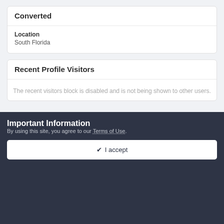Converted
Location
South Florida
Recent Profile Visitors
The recent visitors block is disabled and is not being shown to other users.
Important Information
By using this site, you agree to our Terms of Use.
✔ I accept